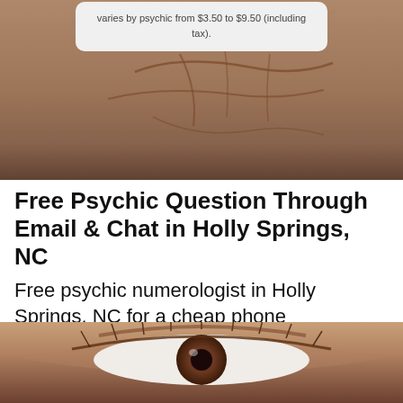[Figure (photo): Close-up photo of a human hand with lines on the palm, brownish skin tones, blurred background]
varies by psychic from $3.50 to $9.50 (including tax).
Free Psychic Question Through Email & Chat in Holly Springs, NC
Free psychic numerologist in Holly Springs, NC for a cheap phone consultation to move forward in life
[Figure (photo): Close-up photo of a human eye with long eyelashes, brown iris visible]